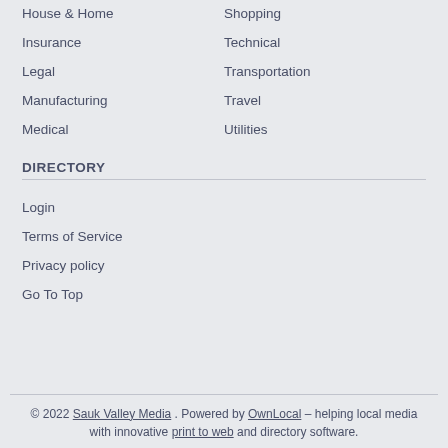House & Home
Shopping
Insurance
Technical
Legal
Transportation
Manufacturing
Travel
Medical
Utilities
DIRECTORY
Login
Terms of Service
Privacy policy
Go To Top
© 2022 Sauk Valley Media . Powered by OwnLocal – helping local media with innovative print to web and directory software.